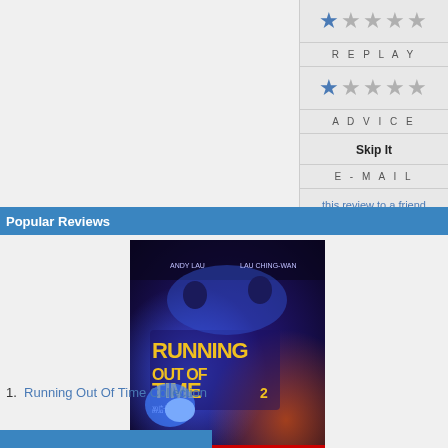[Figure (infographic): Star rating row 1: 1 filled blue star followed by 4 grey stars]
REPLAY
[Figure (infographic): Star rating row 2: 1 filled blue star followed by 4 grey stars]
ADVICE
Skip It
E-MAIL
this review to a friend
Popular Reviews
[Figure (photo): Movie poster for Running Out of Time Collection - dark blue/purple sci-fi action themed poster]
1.  Running Out Of Time Collection